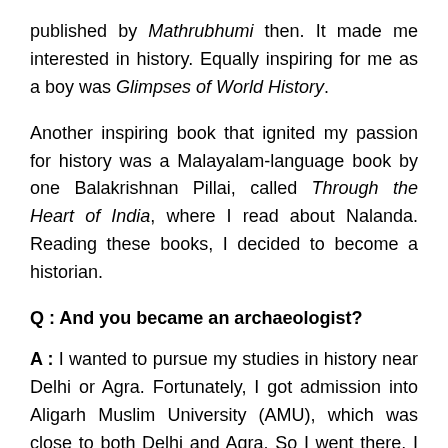published by Mathrubhumi then. It made me interested in history. Equally inspiring for me as a boy was Glimpses of World History.
Another inspiring book that ignited my passion for history was a Malayalam-language book by one Balakrishnan Pillai, called Through the Heart of India, where I read about Nalanda. Reading these books, I decided to become a historian.
Q : And you became an archaeologist?
A : I wanted to pursue my studies in history near Delhi or Agra. Fortunately, I got admission into Aligarh Muslim University (AMU), which was close to both Delhi and Agra. So I went there. I finished my post-graduation studies and applied to become a research scholar. Then I saw the